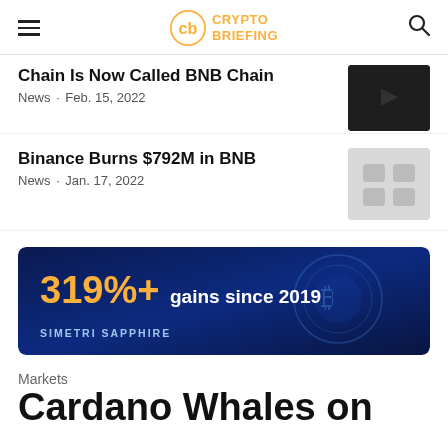Crypto Briefing
Chain Is Now Called BNB Chain
News · Feb. 15, 2022
Binance Burns $792M in BNB
News · Jan. 17, 2022
[Figure (infographic): Advertisement banner: '319%+ gains since 2019 — SIMETRI SAPPHIRE' on dark blue background with crypto coin imagery]
Markets
Cardano Whales on